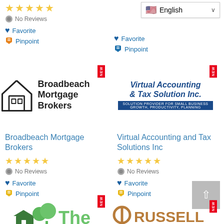No Reviews (left column, top)
Favorite (left column, top)
Pinpoint (left column, top)
English dropdown (right column, top)
Favorite (right column, top)
Pinpoint (right column, top)
[Figure (logo): Broadbeach Mortgage Brokers logo with house icon]
[Figure (logo): Virtual Accounting & Tax Solution Inc. logo with blue banner]
Broadbeach Mortgage Brokers
No Reviews
Favorite
Pinpoint
Virtual Accounting and Tax Solutions Inc
No Reviews
Favorite
Pinpoint
[Figure (logo): The (green house with trees logo, partial at bottom left)]
[Figure (logo): RUSSELL (partial logo at bottom right)]